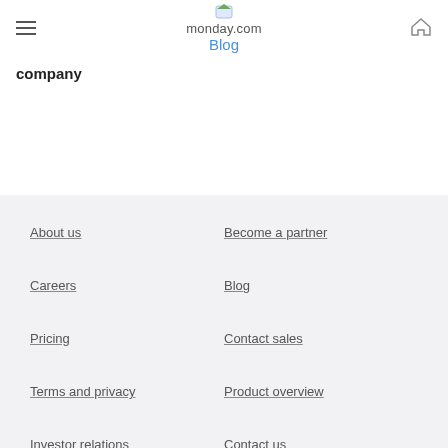monday.com Blog
company
About us
Become a partner
Careers
Blog
Pricing
Contact sales
Terms and privacy
Product overview
Investor relations
Contact us